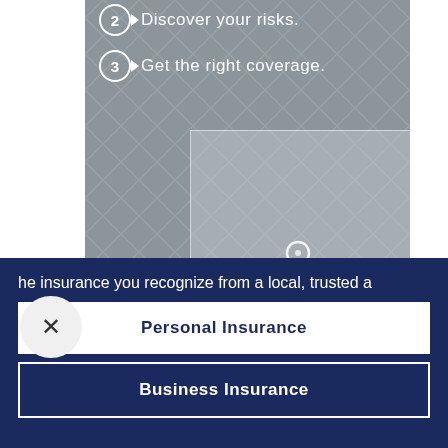Discover your risks.
Get the right coverage.
[Figure (screenshot): Gray diamond pattern background with a semi-transparent inner box and a cursor/pointer icon in the center]
he insurance you recognize from a local, trusted a
Personal Insurance
Business Insurance